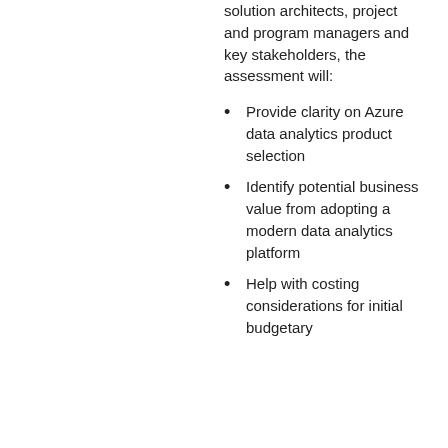solution architects, project and program managers and key stakeholders, the assessment will:
Provide clarity on Azure data analytics product selection
Identify potential business value from adopting a modern data analytics platform
Help with costing considerations for initial budgetary